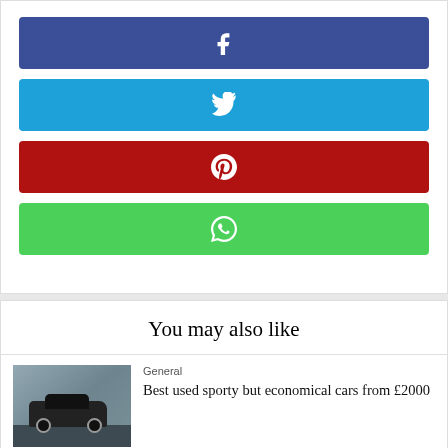[Figure (infographic): Social media share buttons: Facebook (blue-purple), Twitter (blue), Pinterest (red), WhatsApp (green), each as a wide bar with centered icon]
You may also like
[Figure (photo): Photo of a small dark hatchback car on a road with rocky background]
General
Best used sporty but economical cars from £2000
[Figure (bar-chart): Horizontal bar chart thumbnail showing EV sales data (1st half of 2021) with red and blue bars]
General
Tesla Model Y & Model 3